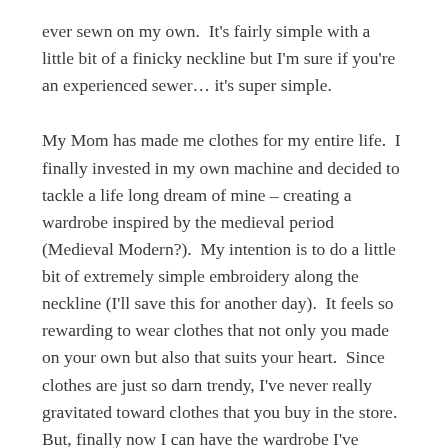ever sewn on my own.  It's fairly simple with a little bit of a finicky neckline but I'm sure if you're an experienced sewer… it's super simple.
My Mom has made me clothes for my entire life.  I finally invested in my own machine and decided to tackle a life long dream of mine – creating a wardrobe inspired by the medieval period (Medieval Modern?).  My intention is to do a little bit of extremely simple embroidery along the neckline (I'll save this for another day).  It feels so rewarding to wear clothes that not only you made on your own but also that suits your heart.  Since clothes are just so darn trendy, I've never really gravitated toward clothes that you buy in the store.  But, finally now I can have the wardrobe I've always wanted.  Linen dresses… tights and some handknit sweaters and socks :).  I'll post a lot more about this pattern and the making of it when I complete the black one and all the embroidery I have planned!